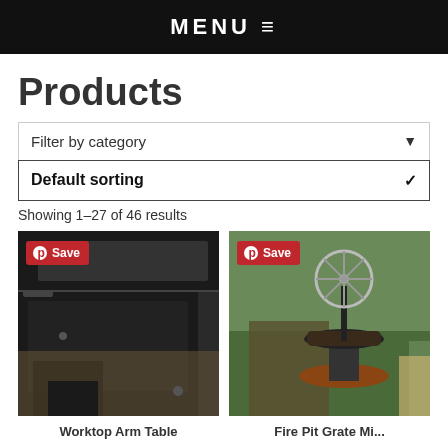MENU ≡
Products
Filter by category ▼
Default sorting ✓
Showing 1–27 of 46 results
[Figure (photo): Close-up photo of a black metal welding/workbench table frame, showing corner detail with bolt holes, on gravel background. Has a red Pinterest Save button overlay.]
[Figure (photo): Outdoor photo of a fire pit grille with a decorative circular fan/wheel element on a post above it, set on stone pavers in a garden. Has a red Pinterest Save button overlay.]
Worktop Arm Table
Fire Pit Grate Mi...